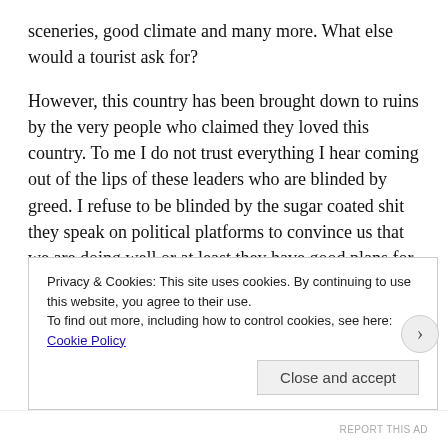sceneries, good climate and many more. What else would a tourist ask for?
However, this country has been brought down to ruins by the very people who claimed they loved this country. To me I do not trust everything I hear coming out of the lips of these leaders who are blinded by greed. I refuse to be blinded by the sugar coated shit they speak on political platforms to convince us that we are doing well or at least they have good plans for this country. Unfortunately majority of the Kenyan citizens have refused or are not able to read between the lines and unravel the mystery of their real intentions-their wicked intentions. Unfortunately they have successfully divided us
Privacy & Cookies: This site uses cookies. By continuing to use this website, you agree to their use.
To find out more, including how to control cookies, see here: Cookie Policy
Close and accept
REPORT THIS AD